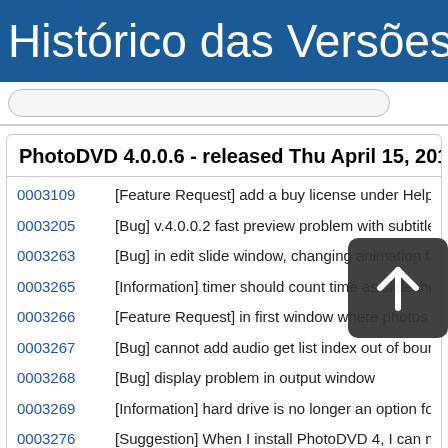Histórico das Versões: Pho
PhotoDVD 4.0.0.6 - released Thu April 15, 2010
0003109  [Feature Request] add a buy license under Help tab
0003205  [Bug] v.4.0.0.2 fast preview problem with subtitle selection
0003263  [Bug] in edit slide window, changing animation facto... all
0003265  [Information] timer should count time as slideshow plays
0003266  [Feature Request] in first window where photos are added, pressin
0003267  [Bug] cannot add audio get list index out of bounds (0)
0003268  [Bug] display problem in output window
0003269  [Information] hard drive is no longer an option for output
0003276  [Suggestion] When I install PhotoDVD 4, I can my settings if c